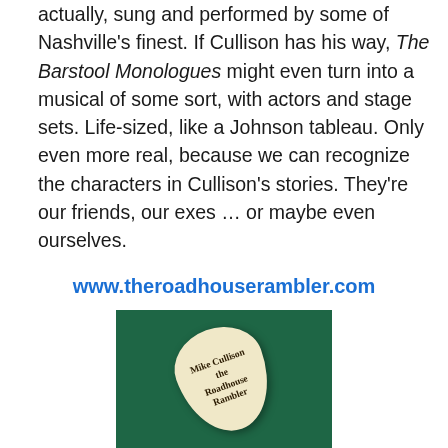actually, sung and performed by some of Nashville's finest. If Cullison has his way, The Barstool Monologues might even turn into a musical of some sort, with actors and stage sets. Life-sized, like a Johnson tableau. Only even more real, because we can recognize the characters in Cullison's stories. They're our friends, our exes … or maybe even ourselves.
www.theroadhouserambler.com
[Figure (photo): A guitar pick on a dark green fabric background. The pick is cream/ivory colored and has text reading 'Mike Cullison the Roadhouse Rambler' printed on it.]